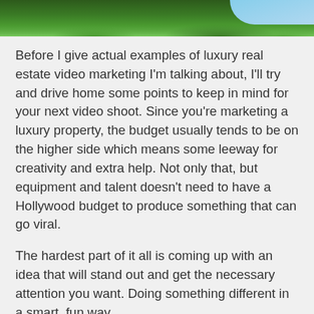[Figure (photo): Partial view of a green grass landscape with blue sky, cropped at the top of the page]
Before I give actual examples of luxury real estate video marketing I'm talking about, I'll try and drive home some points to keep in mind for your next video shoot. Since you're marketing a luxury property, the budget usually tends to be on the higher side which means some leeway for creativity and extra help. Not only that, but equipment and talent doesn't need to have a Hollywood budget to produce something that can go viral.
The hardest part of it all is coming up with an idea that will stand out and get the necessary attention you want. Doing something different in a smart, fun way